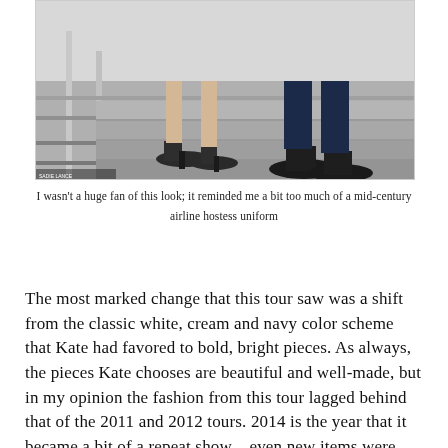[Figure (photo): Photo showing lower legs and feet of two people on stairs with metal railings — a woman wearing dark heels and a man wearing dark dress shoes and navy trousers.]
I wasn't a huge fan of this look; it reminded me a bit too much of a mid-century airline hostess uniform
The most marked change that this tour saw was a shift from the classic white, cream and navy color scheme that Kate had favored to bold, bright pieces. As always, the pieces Kate chooses are beautiful and well-made, but in my opinion the fashion from this tour lagged behind that of the 2011 and 2012 tours. 2014 is the year that it became a bit of a repeat show – even new items were variations of other pieces from Kate's closet.